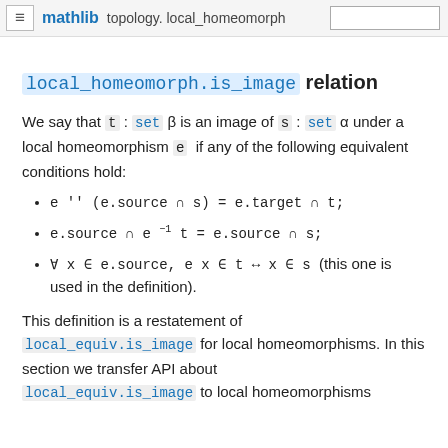topology. local_homeomorph | mathlib
local_homeomorph.is_image relation
We say that t : set β is an image of s : set α under a local homeomorphism e if any of the following equivalent conditions hold:
e '' (e.source ∩ s) = e.target ∩ t;
e.source ∩ e⁻¹ t = e.source ∩ s;
∀ x ∈ e.source, e x ∈ t ↔ x ∈ s (this one is used in the definition).
This definition is a restatement of local_equiv.is_image for local homeomorphisms. In this section we transfer API about local_equiv.is_image to local homeomorphisms